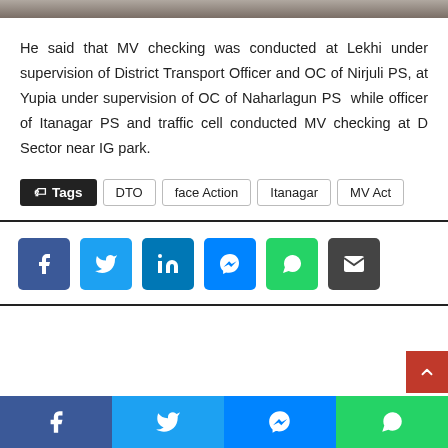[Figure (photo): Photo strip at top of article page, partially cropped]
He said that MV checking was conducted at Lekhi under supervision of District Transport Officer and OC of Nirjuli PS, at Yupia under supervision of OC of Naharlagun PS while officer of Itanagar PS and traffic cell conducted MV checking at D Sector near IG park.
Tags: DTO, face Action, Itanagar, MV Act
[Figure (infographic): Social share buttons: Facebook, Twitter, LinkedIn, Messenger, WhatsApp, Email]
[Figure (infographic): Bottom social share bar with Facebook, Twitter, Messenger, WhatsApp buttons]